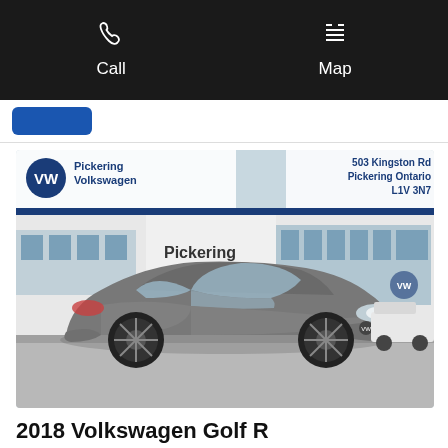Call   Map
[Figure (photo): Exterior photo of a grey 2018 Volkswagen Golf R parked in front of Pickering Volkswagen dealership. The dealership sign shows the VW logo, the name Pickering Volkswagen, and the address 503 Kingston Rd, Pickering Ontario, L1V 3N7. The word Pickering is displayed prominently on the building facade.]
2018 Volkswagen Golf R